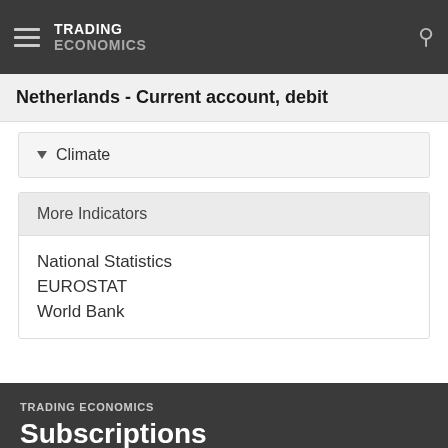TRADING ECONOMICS
Netherlands - Current account, debit
Climate
More Indicators
National Statistics
EUROSTAT
World Bank
TRADING ECONOMICS
Subscriptions
We have a plan for your needs. Standard users